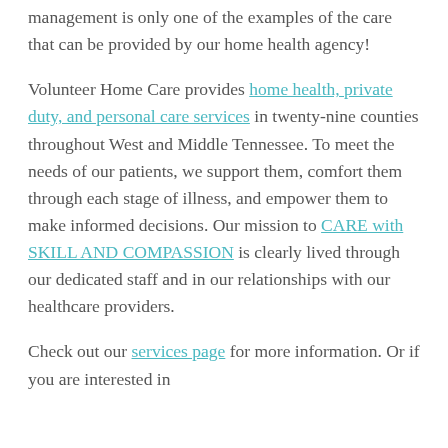management is only one of the examples of the care that can be provided by our home health agency!
Volunteer Home Care provides home health, private duty, and personal care services in twenty-nine counties throughout West and Middle Tennessee. To meet the needs of our patients, we support them, comfort them through each stage of illness, and empower them to make informed decisions. Our mission to CARE with SKILL AND COMPASSION is clearly lived through our dedicated staff and in our relationships with our healthcare providers.
Check out our services page for more information. Or if you are interested in...